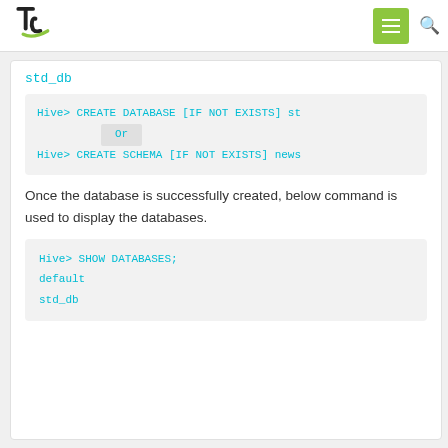tc logo + menu + search nav bar
std_db
Hive> CREATE DATABASE [IF NOT EXISTS] st
           Or
Hive> CREATE SCHEMA [IF NOT EXISTS] newsc
Once the database is successfully created, below command is used to display the databases.
Hive> SHOW DATABASES;
default
std_db